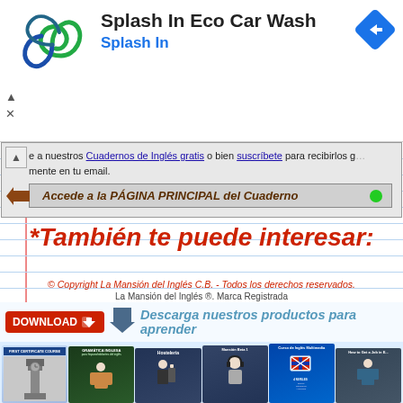[Figure (screenshot): Ad banner for Splash In Eco Car Wash with spiral logo, blue text 'Splash In', and blue diamond navigation arrow icon]
e a nuestros Cuadernos de Inglés gratis o bien suscríbete para recibirlos g...mente en tu email.
Accede a la PÁGINA PRINCIPAL del Cuaderno
*También te puede interesar:
© Copyright La Mansión del Inglés C.B. - Todos los derechos reservados.
La Mansión del Inglés ®. Marca Registrada
Descarga nuestros productos para aprender
[Figure (illustration): Row of book covers for English learning products: First Certificate Course, Gramática Inglesa, Hostelería, Mansión Beta 1, Curso de Inglés Multimedia, How to Get a Job in English]